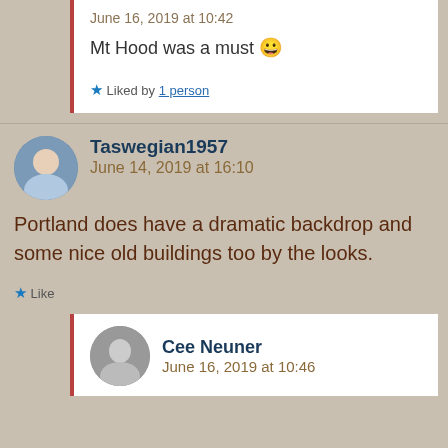June 16, 2019 at 10:42
Mt Hood was a must 😀
Liked by 1 person
Taswegian1957
June 14, 2019 at 16:10
Portland does have a dramatic backdrop and some nice old buildings too by the looks.
Like
Cee Neuner
June 16, 2019 at 10:46